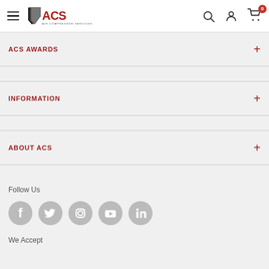ACS - Air Compressor Services navigation header
ACS AWARDS
INFORMATION
ABOUT ACS
Follow Us
[Figure (other): Social media icons: Facebook, Twitter, Instagram, YouTube, LinkedIn]
We Accept